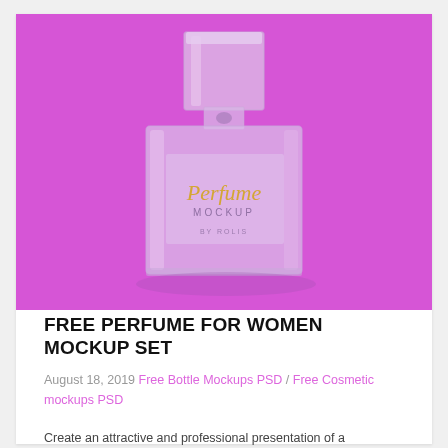[Figure (photo): A glass perfume bottle with square cap on a purple/magenta background. The bottle label reads 'Perfume Mockup' in stylized text.]
FREE PERFUME FOR WOMEN MOCKUP SET
August 18, 2019 Free Bottle Mockups PSD / Free Cosmetic mockups PSD
Create an attractive and professional presentation of a